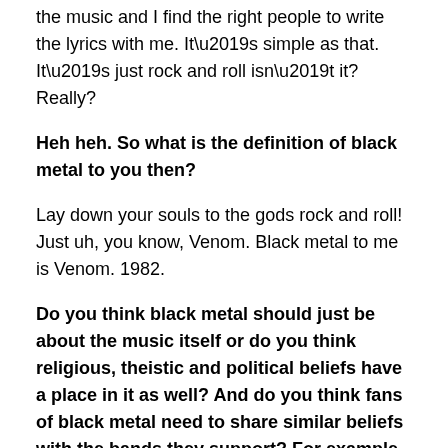the music and I find the right people to write the lyrics with me. It’s simple as that. It’s just rock and roll isn’t it? Really?
Heh heh. So what is the definition of black metal to you then?
Lay down your souls to the gods rock and roll! Just uh, you know, Venom. Black metal to me is Venom. 1982.
Do you think black metal should just be about the music itself or do you think religious, theistic and political beliefs have a place in it as well? And do you think fans of black metal need to share similar beliefs with the bands they support? For example, can you be a devout Christian that is also a fan of black metal?
You know black metal is, it’s supposed to be rock and roll